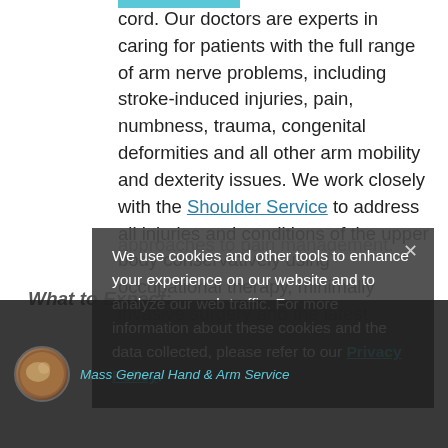cord. Our doctors are experts in caring for patients with the full range of arm nerve problems, including stroke-induced injuries, pain, numbness, trauma, congenital deformities and all other arm mobility and dexterity issues. We work closely with the Shoulder Service to address all injuries and conditions of the upper body conservatively using occupational therapy, minimally invasive surgery and the latest approaches to pain management.
What to Expect:
We use cookies and other tools to enhance your experience on our website and to analyze our web traffic. For more information about these cookies and the data collected, please refer to our Privacy Policy.
Mass General Hand & Arm Service